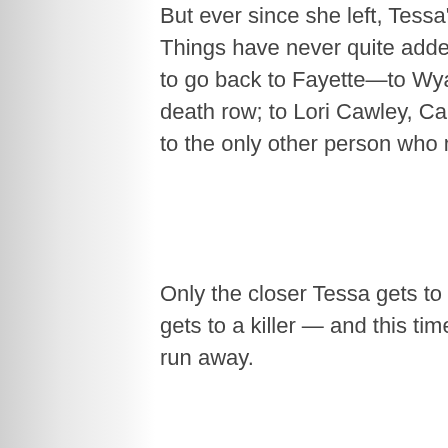But ever since she left, Tessa's had questions. Things have never quite added up. And now she has to go back to Fayette—to Wyatt Stokes sitting on death row; to Lori Cawley, Callie's dead cousin; and to the only other person who may be hiding the truth.
Only the closer Tessa gets to the truth, the closer she gets to a killer — and this time, it won't be as easy to run away.
And I Darken
Vlad the Impaler. Radu the Handsome. Mehmed the